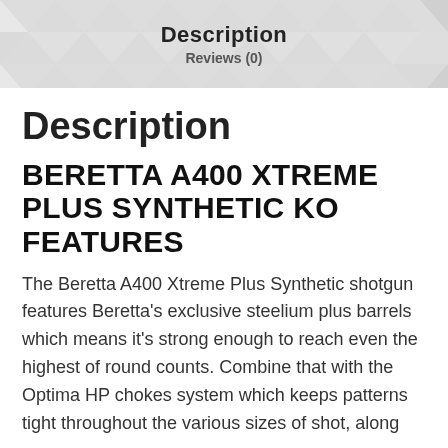Description
Reviews (0)
Description
BERETTA A400 XTREME PLUS SYNTHETIC KO FEATURES
The Beretta A400 Xtreme Plus Synthetic shotgun features Beretta's exclusive steelium plus barrels which means it's strong enough to reach even the highest of round counts. Combine that with the Optima HP chokes system which keeps patterns tight throughout the various sizes of shot, along